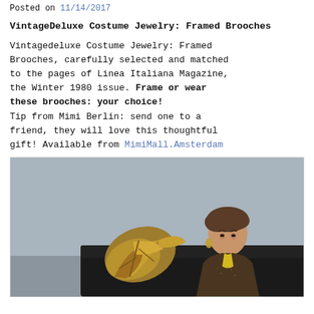Posted on 11/14/2017
VintageDeluxe Costume Jewelry: Framed Brooches
Vintagedeluxe Costume Jewelry: Framed Brooches, carefully selected and matched to the pages of Linea Italiana Magazine, the Winter 1980 issue. Frame or wear these brooches: your choice! Tip from Mimi Berlin: send one to a friend, they will love this thoughtful gift! Available from MimiMall.Amsterdam
[Figure (photo): A woman with styled hair wearing a sparkly brown jacket with a yellow tie/scarf, seated near a large decorative golden leaf brooch/sculpture on what appears to be a black surface, against a grey background.]